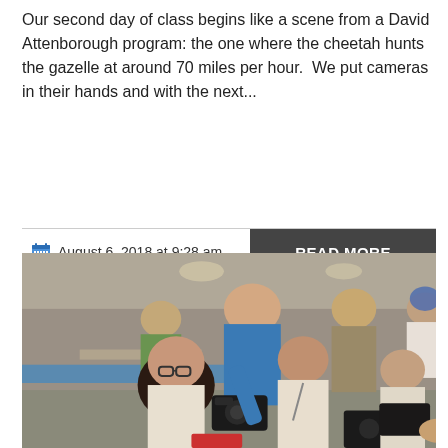Our second day of class begins like a scene from a David Attenborough program: the one where the cheetah hunts the gazelle at around 70 miles per hour.  We put cameras in their hands and with the next...
August 6, 2018 at 9:28 am
READ MORE
[Figure (photo): Classroom scene showing an older man in a blue shirt leaning over to assist students with cameras. Multiple students and adults are visible in the room working with camera equipment.]